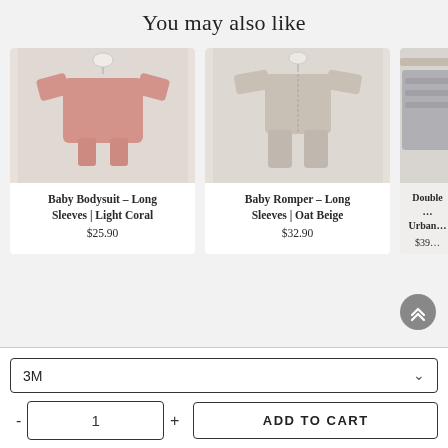You may also like
[Figure (photo): Baby Bodysuit long sleeves in light coral pink color, hanging on a small wooden hanger against light background]
Baby Bodysuit – Long Sleeves | Light Coral
$25.90
[Figure (photo): Baby Romper long sleeves in oat beige color, hanging on a small wooden hanger against light background]
Baby Romper – Long Sleeves | Oat Beige
$32.90
[Figure (photo): Partial view of Double layer product in urban grey, partially cropped at right edge]
Double … Urban…
$39…
3M
1
ADD TO CART